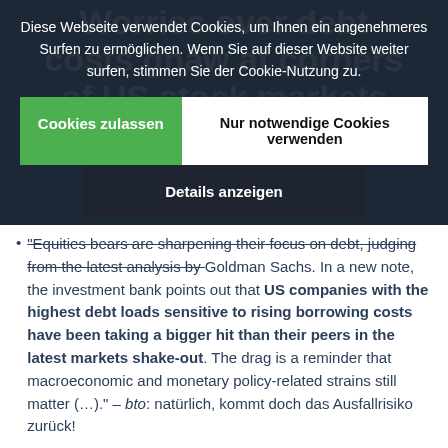Worries over debt costs gnaw at corners of US stock market
Diese Webseite verwendet Cookies, um Ihnen ein angenehmeres Surfen zu ermöglichen. Wenn Sie auf dieser Website weiter surfen, stimmen Sie der Cookie-Nutzung zu.
Cookies zulassen
Nur notwendige Cookies verwenden
Details anzeigen
"Equities bears are sharpening their focus on debt, judging from the latest analysis by Goldman Sachs. In a new note, the investment bank points out that US companies with the highest debt loads sensitive to rising borrowing costs have been taking a bigger hit than their peers in the latest markets shake-out. The drag is a reminder that macroeconomic and monetary policy-related strains still matter (…)." – bto: natürlich, kommt doch das Ausfallrisiko zurück!